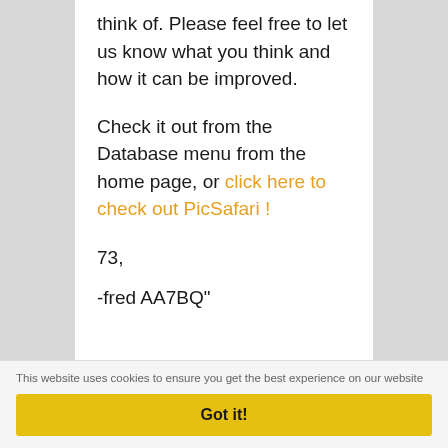think of. Please feel free to let us know what you think and how it can be improved.
Check it out from the Database menu from the home page, or click here to check out PicSafari !
73,
-fred AA7BQ"
This website uses cookies to ensure you get the best experience on our website
Got it!